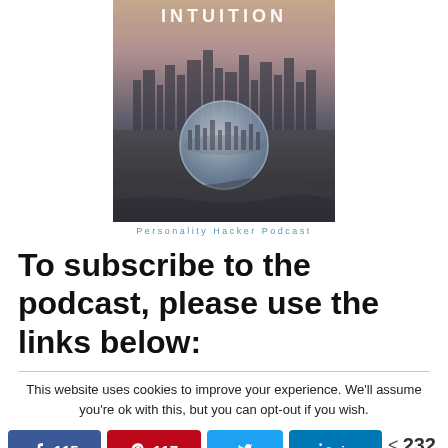[Figure (photo): Podcast cover art for 'Intuition' on Personality Hacker Podcast — a glass sphere/lens ball reflecting a city skyline, placed on rocky ground with a dusk sky background. The word INTUITION appears in white text at the top of the image.]
Personality Hacker Podcast
To subscribe to the podcast, please use the links below:
This website uses cookies to improve your experience. We'll assume you're ok with this, but you can opt-out if you wish.
115  117  232 SHARES